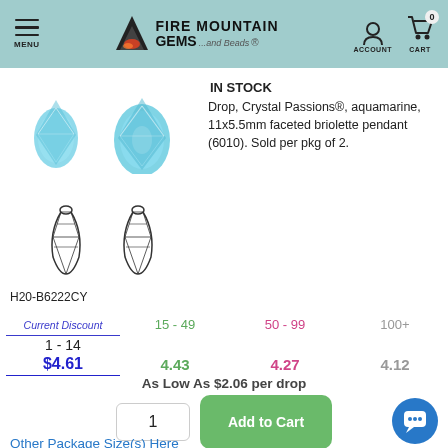[Figure (screenshot): Fire Mountain Gems and Beads website header with menu icon, logo, account and cart icons on teal background]
IN STOCK
Drop, Crystal Passions®, aquamarine, 11x5.5mm faceted briolette pendant (6010). Sold per pkg of 2.
[Figure (photo): Two aquamarine crystal briolette pendants, photographed showing faceted blue teardrop shapes]
[Figure (illustration): Two outline illustrations of faceted briolette pendants showing the shape and bale]
H20-B6222CY
| Current Discount | 15 - 49 | 50 - 99 | 100+ |
| --- | --- | --- | --- |
| 1 - 14 |  |  |  |
| $4.61 | 4.43 | 4.27 | 4.12 |
As Low As $2.06 per drop
Other Package Size(s) Here
REGULAR STOCK
IN STOCK